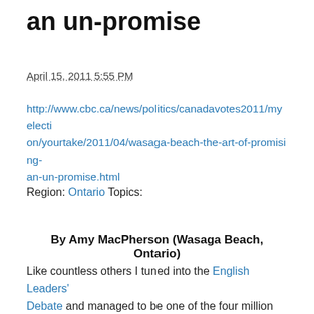an un-promise
April 15, 2011 5:55 PM
http://www.cbc.ca/news/politics/canadavotes2011/myelection/yourtake/2011/04/wasaga-beach-the-art-of-promising-an-un-promise.html
Region: Ontario Topics:
By Amy MacPherson (Wasaga Beach, Ontario)
Like countless others I tuned into the English Leaders' Debate and managed to be one of the four million who absorbed the performance from beginning to end.  I